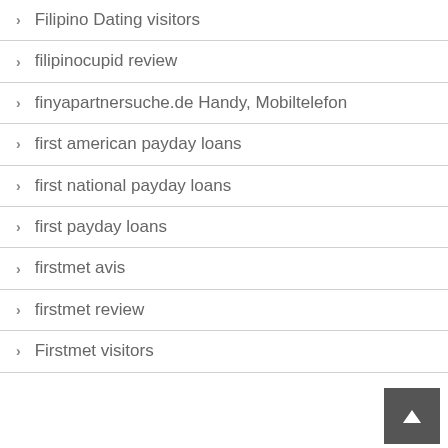Filipino Dating visitors
filipinocupid review
finyapartnersuche.de Handy, Mobiltelefon
first american payday loans
first national payday loans
first payday loans
firstmet avis
firstmet review
Firstmet visitors